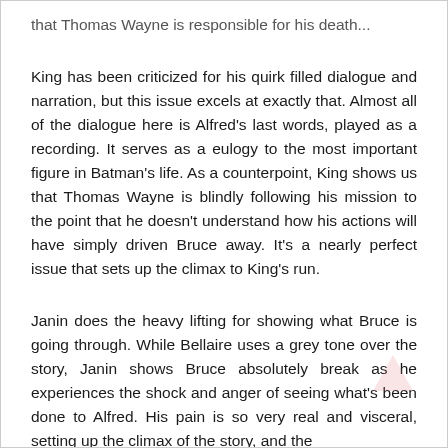that Thomas Wayne is responsible for his death...
King has been criticized for his quirk filled dialogue and narration, but this issue excels at exactly that. Almost all of the dialogue here is Alfred's last words, played as a recording. It serves as a eulogy to the most important figure in Batman's life. As a counterpoint, King shows us that Thomas Wayne is blindly following his mission to the point that he doesn't understand how his actions will have simply driven Bruce away. It's a nearly perfect issue that sets up the climax to King's run.
Janin does the heavy lifting for showing what Bruce is going through. While Bellaire uses a grey tone over the story, Janin shows Bruce absolutely break as he experiences the shock and anger of seeing what's been done to Alfred. His pain is so very real and visceral, setting up the climax of the story, and the